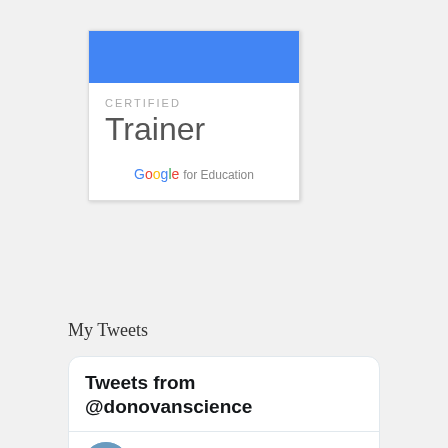[Figure (logo): Google for Education Certified Trainer badge: blue rectangle on top, white body with 'CERTIFIED' in light gray uppercase, 'Trainer' in large gray font, and 'Google for Education' logo at the bottom.]
My Tweets
[Figure (screenshot): Twitter widget showing 'Tweets from @donovanscience' header, and a tweet user row with avatar photo of Patrick D..., handle @don..., 9h ago, and Twitter bird icon.]